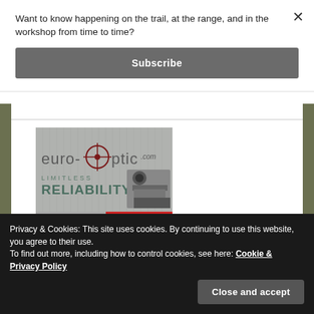Want to know happening on the trail, at the range, and in the workshop from time to time?
Subscribe
×
[Figure (logo): euro-optic.com advertisement banner showing logo with crosshair, text LIMITLESS RELIABILITY, and a scope mount image]
Privacy & Cookies: This site uses cookies. By continuing to use this website, you agree to their use.
To find out more, including how to control cookies, see here: Cookie & Privacy Policy
Close and accept